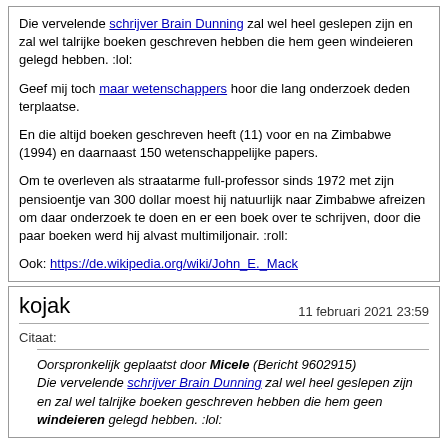Die vervelende schrijver Brain Dunning zal wel heel geslepen zijn en zal wel talrijke boeken geschreven hebben die hem geen windeieren gelegd hebben. :lol:

Geef mij toch maar wetenschappers hoor die lang onderzoek deden terplaatse.

En die altijd boeken geschreven heeft (11) voor en na Zimbabwe (1994) en daarnaast 150 wetenschappelijke papers.

Om te overleven als straatarme full-professor sinds 1972 met zijn pensioentje van 300 dollar moest hij natuurlijk naar Zimbabwe afreizen om daar onderzoek te doen en er een boek over te schrijven, door die paar boeken werd hij alvast multimiljonair. :roll:

Ook: https://de.wikipedia.org/wiki/John_E._Mack
kojak
11 februari 2021 23:59
Citaat:
Oorspronkelijk geplaatst door Micele (Bericht 9602915)
Die vervelende schrijver Brain Dunning zal wel heel geslepen zijn en zal wel talrijke boeken geschreven hebben die hem geen windeieren gelegd hebben. :lol: